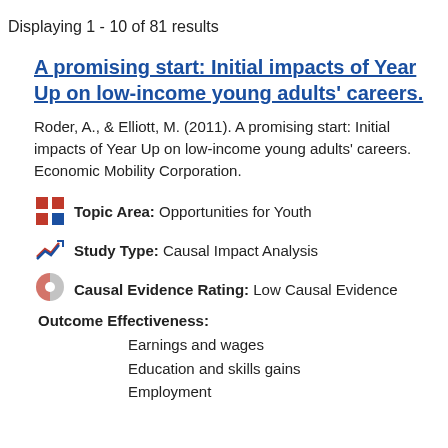Displaying 1 - 10 of 81 results
A promising start: Initial impacts of Year Up on low-income young adults' careers.
Roder, A., & Elliott, M. (2011). A promising start: Initial impacts of Year Up on low-income young adults' careers. Economic Mobility Corporation.
Topic Area: Opportunities for Youth
Study Type: Causal Impact Analysis
Causal Evidence Rating: Low Causal Evidence
Outcome Effectiveness:
Earnings and wages
Education and skills gains
Employment